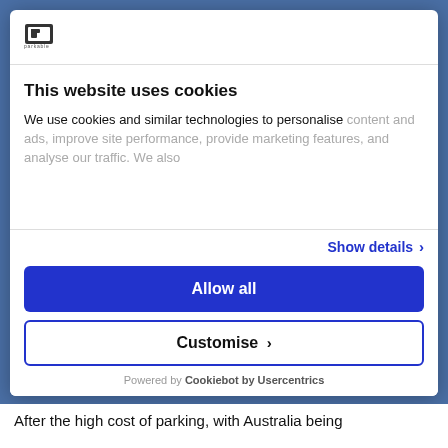[Figure (logo): Parkable logo — small icon with house/parking symbol and text 'parkable' below]
This website uses cookies
We use cookies and similar technologies to personalise content and ads, improve site performance, provide marketing features, and analyse our traffic. We also
Show details ›
Allow all
Customise ›
Powered by Cookiebot by Usercentrics
After the high cost of parking, with Australia being